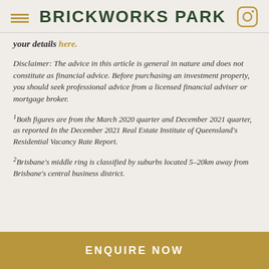BRICKWORKS PARK
your details here.
Disclaimer: The advice in this article is general in nature and does not constitute as financial advice. Before purchasing an investment property, you should seek professional advice from a licensed financial adviser or mortgage broker.
1Both figures are from the March 2020 quarter and December 2021 quarter, as reported In the December 2021 Real Estate Institute of Queensland's Residential Vacancy Rate Report.
2Brisbane's middle ring is classified by suburbs located 5–20km away from Brisbane's central business district.
ENQUIRE NOW